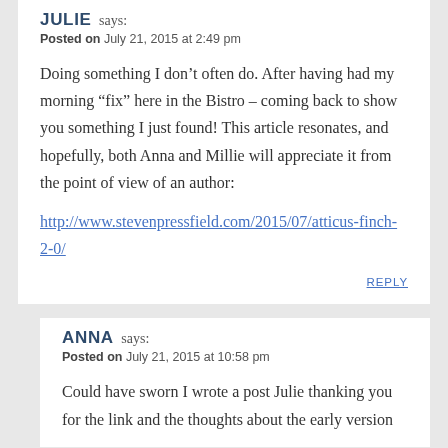JULIE says:
Posted on July 21, 2015 at 2:49 pm
Doing something I don't often do. After having had my morning “fix” here in the Bistro – coming back to show you something I just found! This article resonates, and hopefully, both Anna and Millie will appreciate it from the point of view of an author:
http://www.stevenpressfield.com/2015/07/atticus-finch-2-0/
REPLY
ANNA says:
Posted on July 21, 2015 at 10:58 pm
Could have sworn I wrote a post Julie thanking you for the link and the thoughts about the early version